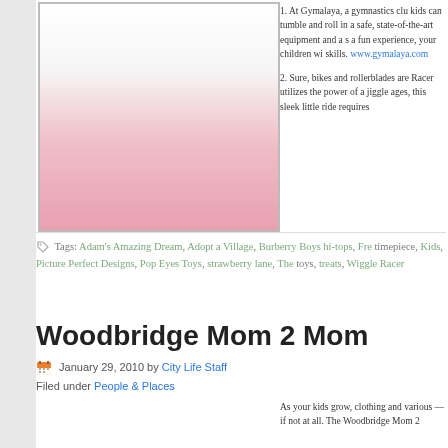[Figure (photo): Baby/toddler girl in pink tutu dress sitting with a pink polka dot cake and a pink balloon behind her, covering mouth with hands]
1. At Gymalaya, a gymnastics club kids can tumble and roll in a safe, state-of-the-art equipment and a s a fun experience, your children wil skills. www.gymalaya.com

2. Sure, bikes and rollerblades are Racer utilizes the power of a jiggle ages, this sleek little ride requires
Tags: Adam's Amazing Dream, Adopt a Village, Burberry Boys hi-tops, Fre timepiece, Kids, Picture Perfect Designs, Pop Eyes Toys, strawberry lane, The toys, treats, Wiggle Racer
Woodbridge Mom 2 Mom
January 29, 2010 by City Life Staff
Filed under People & Places
As your kids grow, clothing and various — if not at all. The Woodbridge Mom 2